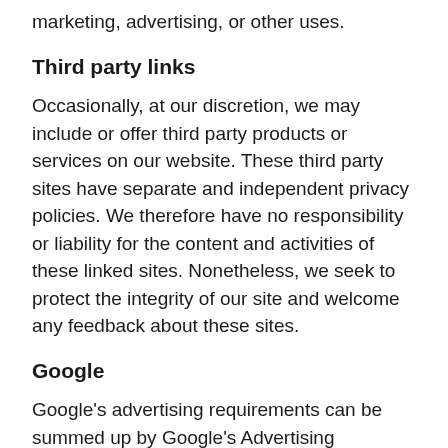marketing, advertising, or other uses.
Third party links
Occasionally, at our discretion, we may include or offer third party products or services on our website. These third party sites have separate and independent privacy policies. We therefore have no responsibility or liability for the content and activities of these linked sites. Nonetheless, we seek to protect the integrity of our site and welcome any feedback about these sites.
Google
Google's advertising requirements can be summed up by Google's Advertising Principles. They are put in place to provide a positive experience for users. https://support.google.com/adwordspolicy/answer/1316548?hl=en
We use Google AdSense Advertising on our website